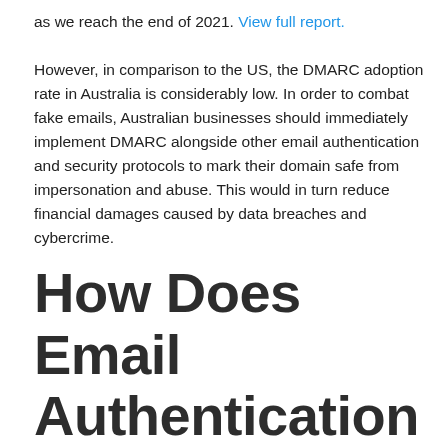as we reach the end of 2021. View full report. However, in comparison to the US, the DMARC adoption rate in Australia is considerably low. In order to combat fake emails, Australian businesses should immediately implement DMARC alongside other email authentication and security protocols to mark their domain safe from impersonation and abuse. This would in turn reduce financial damages caused by data breaches and cybercrime.
How Does Email Authentication Work?